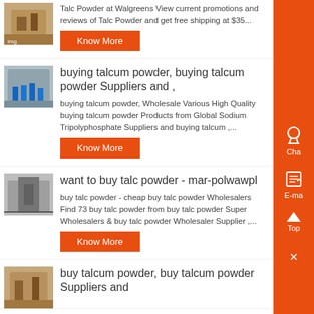[Figure (photo): Thumbnail of industrial/mining machinery - top item (partially visible)]
Talc Powder at Walgreens View current promotions and reviews of Talc Powder and get free shipping at $35...
Know More
[Figure (photo): Thumbnail of industrial/mining equipment with blue pipes]
buying talcum powder, buying talcum powder Suppliers and ,
buying talcum powder, Wholesale Various High Quality buying talcum powder Products from Global Sodium Tripolyphosphate Suppliers and buying talcum ,...
Know More
[Figure (photo): Thumbnail of industrial building/factory]
want to buy talc powder - mar-polwawpl
buy talc powder - cheap buy talc powder Wholesalers Find 73 buy talc powder from buy talc powder Super Wholesalers & buy talc powder Wholesaler Supplier ,...
Know More
[Figure (photo): Thumbnail of industrial/mining equipment at bottom (partially visible)]
buy talcum powder, buy talcum powder Suppliers and
Chat
E-ma
Top
×